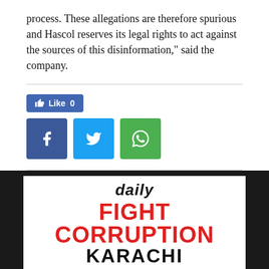process. These allegations are therefore spurious and Hascol reserves its legal rights to act against the sources of this disinformation," said the company.
[Figure (infographic): Social sharing buttons: Facebook Like button showing count 0, followed by Facebook, Twitter, and WhatsApp share buttons]
[Figure (logo): Daily Fight Corruption Karachi logo on dark background with white rectangle containing the text]